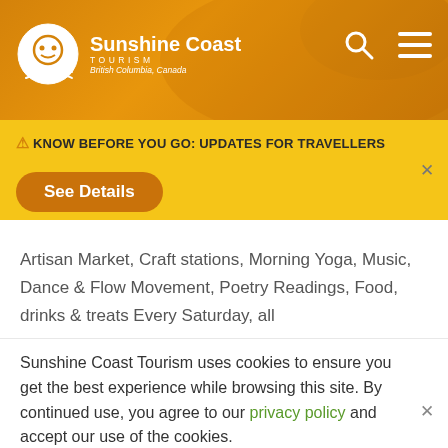[Figure (logo): Sunshine Coast Tourism logo with sun/face icon and text 'Sunshine Coast TOURISM British Columbia, Canada' on orange header background]
⚠ KNOW BEFORE YOU GO: UPDATES FOR TRAVELLERS
See Details
Artisan Market, Craft stations, Morning Yoga, Music, Dance & Flow Movement, Poetry Readings, Food, drinks & treats Every Saturday, all
Sunshine Coast Tourism uses cookies to ensure you get the best experience while browsing this site. By continued use, you agree to our privacy policy and accept our use of the cookies.
Privacy Policy